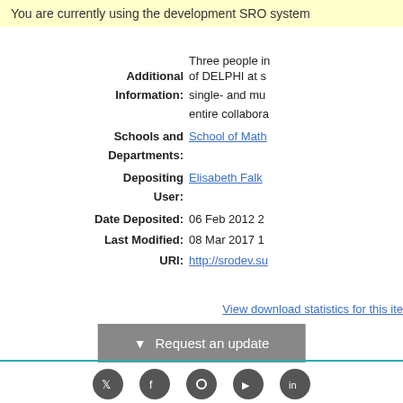You are currently using the development SRO system
Item Type: Article
Three people in... of DELPHI at s... single- and mu... entire collabora...
| Field | Value |
| --- | --- |
| Additional Information: | Three people in... of DELPHI at s... single- and multi-... entire collabora... |
| Schools and Departments: | School of Math... |
| Depositing User: | Elisabeth Falk... |
| Date Deposited: | 06 Feb 2012 2... |
| Last Modified: | 08 Mar 2017 1... |
| URI: | http://srodev.su... |
View download statistics for this ite...
Request an update
Social media icons footer